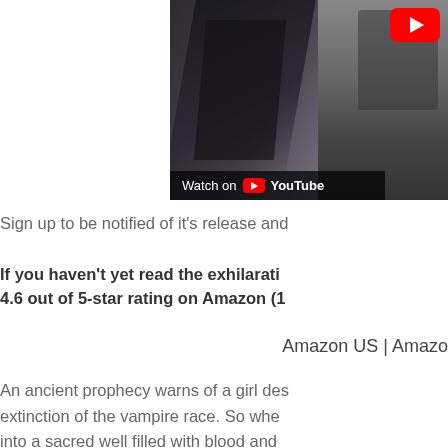[Figure (screenshot): YouTube video thumbnail showing a person in dark clothing against a grey background, with a YouTube play button in the top right and a 'Watch on YouTube' bar at the bottom]
Sign up to be notified of it's release and
If you haven't yet read the exhilarati... 4.6 out of 5-star rating on Amazon (1...
Amazon US | Amazon...
An ancient prophecy warns of a girl des... extinction of the vampire race. So wher... into a sacred well filled with blood and... immortal empire believes she is this le...